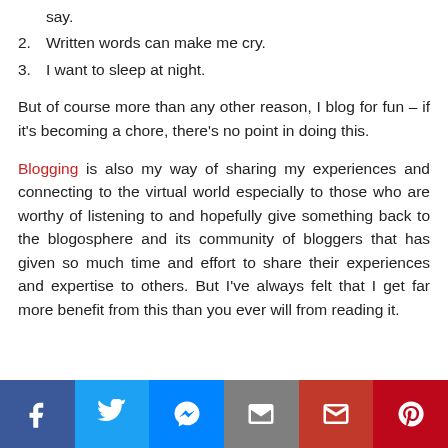say.
2. Written words can make me cry.
3. I want to sleep at night.
But of course more than any other reason, I blog for fun – if it's becoming a chore, there's no point in doing this.
Blogging is also my way of sharing my experiences and connecting to the virtual world especially to those who are worthy of listening to and hopefully give something back to the blogosphere and its community of bloggers that has given so much time and effort to share their experiences and expertise to others. But I've always felt that I get far more benefit from this than you ever will from reading it.